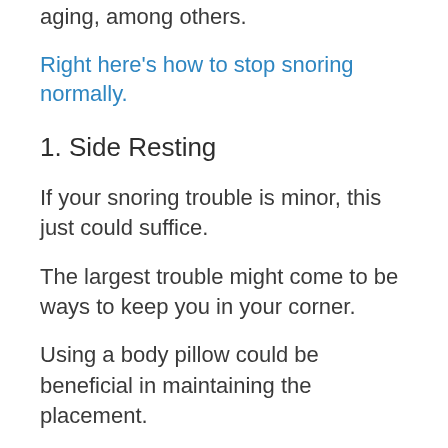aging, among others.
Right here's how to stop snoring normally.
1. Side Resting
If your snoring trouble is minor, this just could suffice.
The largest trouble might come to be ways to keep you in your corner.
Using a body pillow could be beneficial in maintaining the placement.
Inevitably, this setting can prevent the relaxed and untoned muscle mass in the the throat from blocking the breathing passageways. An old remedy that might be